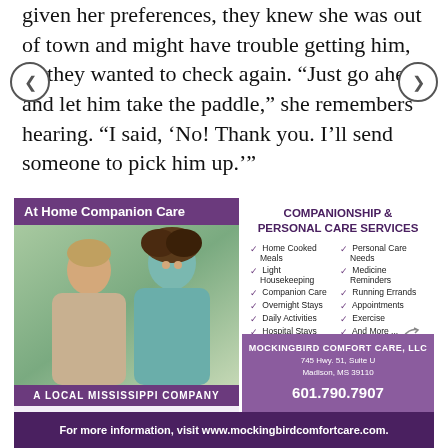given her preferences, they knew she was out of town and might have trouble getting him, so they wanted to check again. “Just go ahead and let him take the paddle,” she remembers hearing. “I said, ‘No! Thank you. I’ll send someone to pick him up.’”
[Figure (infographic): Advertisement for Mockingbird Comfort Care LLC - At Home Companion Care. Left panel shows photo of elderly person with caregiver, purple header 'At Home Companion Care', banner 'A Local Mississippi Company', and Mockingbird logo. Right panel lists companionship and personal care services including Home Cooked Meals, Light Housekeeping, Companion Care, Overnight Stays, Daily Activities, Hospital Stays, Personal Care Needs, Medicine Reminders, Running Errands, Appointments, Exercise, And More. Contact info: 745 Hwy. 51 Suite U, Madison MS 39110, 601.790.7907. Bottom banner: For more information, visit www.mockingbirdcomfortcare.com.]